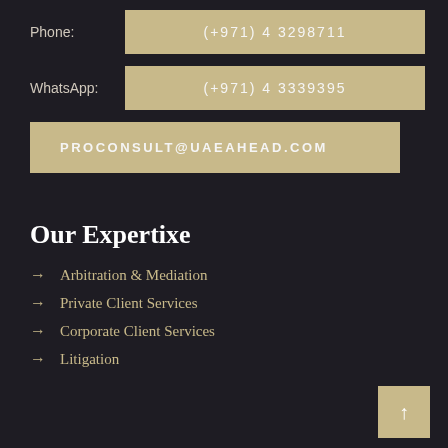Phone: (+971) 4 3298711
WhatsApp: (+971) 4 3339395
PROCONSULT@UAEAHEAD.COM
Our Expertixe
Arbitration & Mediation
Private Client Services
Corporate Client Services
Litigation